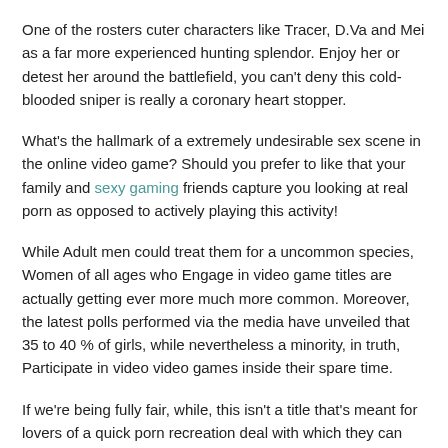One of the rosters cuter characters like Tracer, D.Va and Mei as a far more experienced hunting splendor. Enjoy her or detest her around the battlefield, you can't deny this cold-blooded sniper is really a coronary heart stopper.
What's the hallmark of a extremely undesirable sex scene in the online video game? Should you prefer to like that your family and sexy gaming friends capture you looking at real porn as opposed to actively playing this activity!
While Adult men could treat them for a uncommon species, Women of all ages who Engage in video game titles are actually getting ever more much more common. Moreover, the latest polls performed via the media have unveiled that 35 to 40 % of girls, while nevertheless a minority, in truth, Participate in video video games inside their spare time.
If we're being fully fair, while, this isn't a title that's meant for lovers of a quick porn recreation deal with which they can load, tap, then blow a load to. This is due to unlocking the Grownup materials below usually